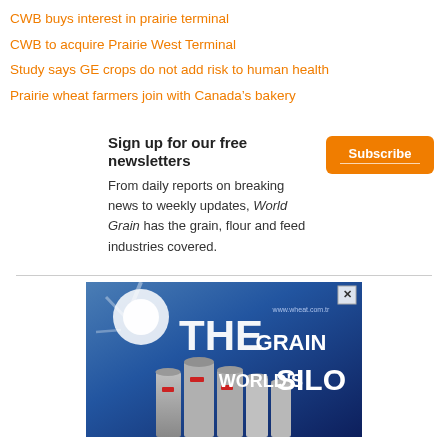CWB buys interest in prairie terminal
CWB to acquire Prairie West Terminal
Study says GE crops do not add risk to human health
Prairie wheat farmers join with Canada's bakery
Sign up for our free newsletters
From daily reports on breaking news to weekly updates, World Grain has the grain, flour and feed industries covered.
[Figure (screenshot): Advertisement banner showing grain silos against a blue sky with text THE GRAIN WORLD'S SILO and a close button in top right corner]